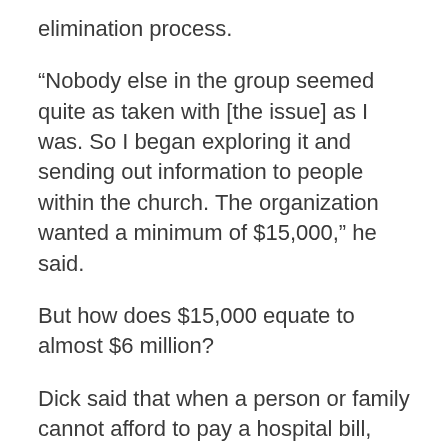elimination process.
“Nobody else in the group seemed quite as taken with [the issue] as I was. So I began exploring it and sending out information to people within the church. The organization wanted a minimum of $15,000,” he said.
But how does $15,000 equate to almost $6 million?
Dick said that when a person or family cannot afford to pay a hospital bill, that debt is then sent to a debt collection agency. Unpaid debts remain in the system for a long